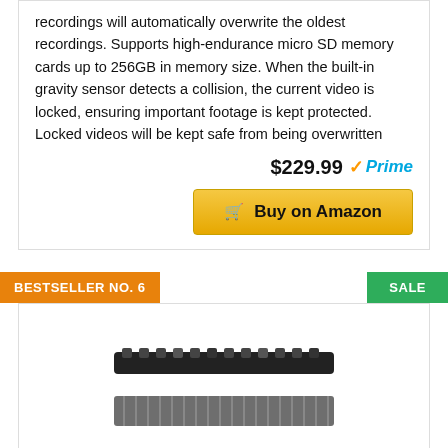recordings will automatically overwrite the oldest recordings. Supports high-endurance micro SD memory cards up to 256GB in memory size. When the built-in gravity sensor detects a collision, the current video is locked, ensuring important footage is kept protected. Locked videos will be kept safe from being overwritten
$229.99 ✓Prime
Buy on Amazon
BESTSELLER NO. 6
SALE
[Figure (photo): Product image of a dash camera or similar electronic device component, shown from below]